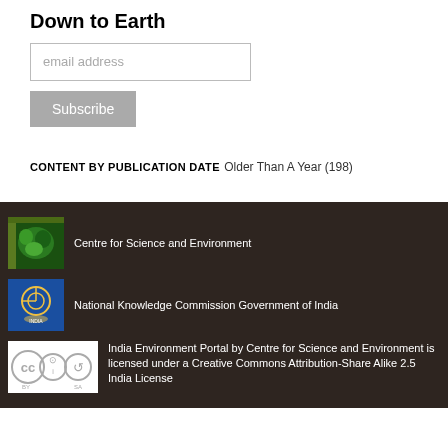Down to Earth
[Figure (other): Email address input field]
[Figure (other): Subscribe button]
CONTENT BY PUBLICATION DATE
Older Than A Year (198)
Centre for Science and Environment
National Knowledge Commission Government of India
India Environment Portal by Centre for Science and Environment is licensed under a Creative Commons Attribution-Share Alike 2.5 India License